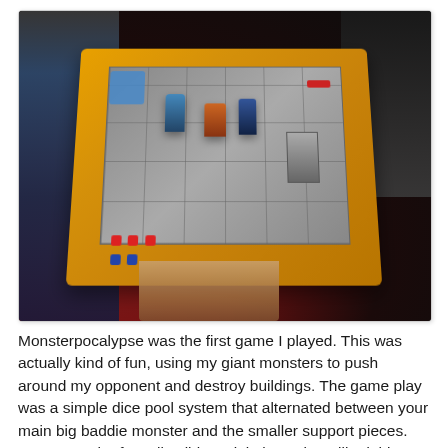[Figure (photo): A board game (Monsterpocalypse) being played by multiple people around a table. The game board has a city grid with miniature monster figures, buildings, and dice. The board has a bright orange/yellow border and a grey street grid in the center with blue, orange, and dark monster miniatures placed on it.]
Monsterpocalypse was the first game I played. This was actually kind of fun, using my giant monsters to push around my opponent and destroy buildings. The game play was a simple dice pool system that alternated between your main big baddie monster and the smaller support pieces. I'm not much of a collectibles mini player, but I liked this game